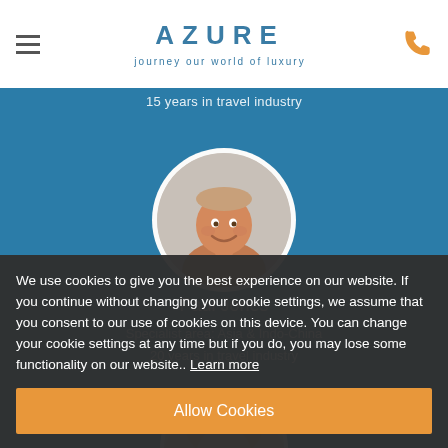AZURE – journey our world of luxury
15 years in travel industry
[Figure (photo): Circular portrait photo of Paul Jones, a smiling middle-aged man with short hair]
Paul Jones
Specialist area: Asia & Indo-China
20 years in travel industry
[Figure (photo): Partial circular portrait photo of a blonde woman, partially visible at the bottom of the page]
We use cookies to give you the best experience on our website. If you continue without changing your cookie settings, we assume that you consent to our use of cookies on this device. You can change your cookie settings at any time but if you do, you may lose some functionality on our website.. Learn more
Allow Cookies